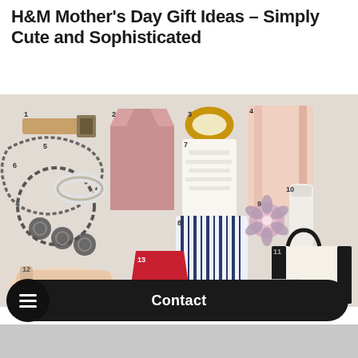H&M Mother's Day Gift Ideas – Simply Cute and Sophisticated
[Figure (photo): Collage of H&M Mother's Day gift items numbered 1-14, including belts, dresses, jewelry, tops, skirts, bags, and shoes on a light background]
Contact